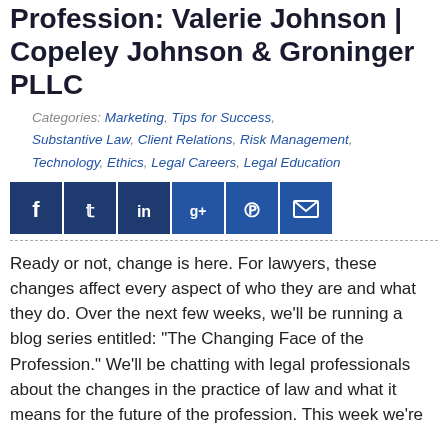Profession: Valerie Johnson | Copeley Johnson & Groninger PLLC
Categories: Marketing, Tips for Success, Substantive Law, Client Relations, Risk Management, Technology, Ethics, Legal Careers, Legal Education
[Figure (other): Social media share buttons: Facebook, Twitter, LinkedIn, Google+, Pinterest, Email]
Ready or not, change is here. For lawyers, these changes affect every aspect of who they are and what they do. Over the next few weeks, we'll be running a blog series entitled: "The Changing Face of the Profession." We'll be chatting with legal professionals about the changes in the practice of law and what it means for the future of the profession. This week we're